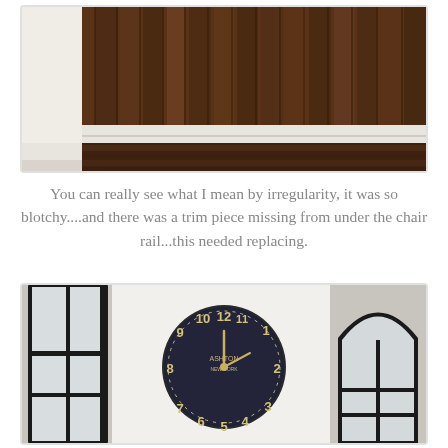[Figure (photo): Interior photo showing dark wood vertical plank paneling on a wall with white baseboard trim and dark hardwood floor visible at the bottom. A gap is visible between the wall paneling and the baseboard (missing trim piece under chair rail).]
You can really see what I mean by irregularity, it was so blotchy....and there was a trim piece missing from under the chair rail...this needed replacing.
[Figure (photo): Interior room photo showing a large round dark wall clock with cream/tan numbers (vintage/industrial style) mounted on a white wall, flanked by two tall black-framed windows — one flat window on the left and one arched window on the right.]